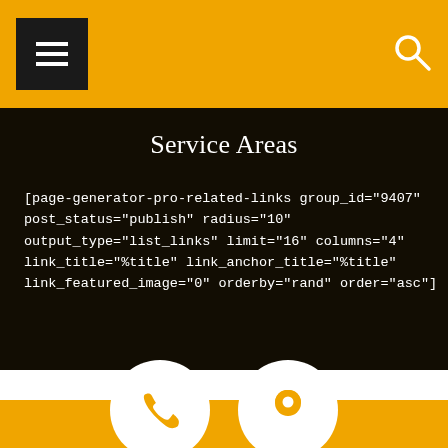Menu icon and Search icon on orange header bar
Service Areas
[page-generator-pro-related-links group_id="9407" post_status="publish" radius="10" output_type="list_links" limit="16" columns="4" link_title="%title" link_anchor_title="%title" link_featured_image="0" orderby="rand" order="asc"]
[Figure (illustration): Orange footer bar with two white circular icons: a phone icon on the left and a location pin icon on the right]